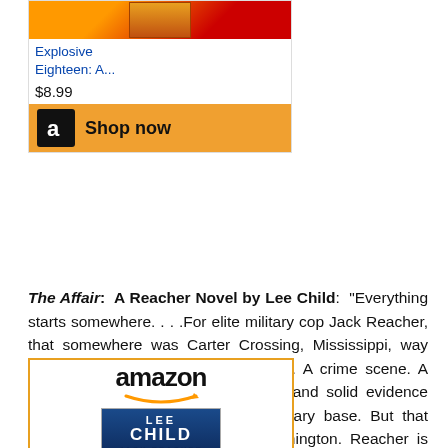[Figure (other): Amazon widget showing book cover thumbnail with orange/red background]
Explosive Eighteen: A...
$8.99
[Figure (other): Shop now button with Amazon logo]
The Affair: A Reacher Novel by Lee Child: "Everything starts somewhere. . . .For elite military cop Jack Reacher, that somewhere was Carter Crossing, Mississippi, way back in 1997. A lonely railroad track. A crime scene. A coverup. A young woman is dead, and solid evidence points to a soldier at a nearby military base. But that soldier has powerful friends in Washington. Reacher is ordered undercover-- to find out everything he can, to control the local police, and then to vanish. Reacher is a good soldier. But when he gets to Carter Crossing, he finds layers no one saw coming, and the investigation spins out of control."
[Figure (other): Amazon widget with logo and Lee Child Jack Reacher book cover]